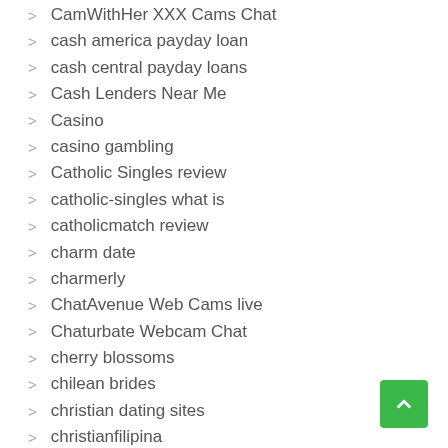CamWithHer XXX Cams Chat
cash america payday loan
cash central payday loans
Cash Lenders Near Me
Casino
casino gambling
Catholic Singles review
catholic-singles what is
catholicmatch review
charm date
charmerly
ChatAvenue Web Cams live
Chaturbate Webcam Chat
cherry blossoms
chilean brides
christian dating sites
christianfilipina
christianmingle profile